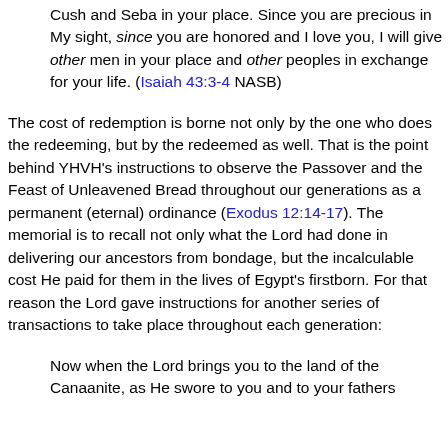Cush and Seba in your place.  Since you are precious in My sight, since you are honored and I love you, I will give other men in your place and other peoples in exchange for your life.  (Isaiah 43:3-4 NASB)
The cost of redemption is borne not only by the one who does the redeeming, but by the redeemed as well.  That is the point behind YHVH's instructions to observe the Passover and the Feast of Unleavened Bread throughout our generations as a permanent (eternal) ordinance (Exodus 12:14-17).  The memorial is to recall not only what the Lord had done in delivering our ancestors from bondage, but the incalculable cost He paid for them in the lives of Egypt's firstborn.  For that reason the Lord gave instructions for another series of transactions to take place throughout each generation:
Now when the Lord brings you to the land of the Canaanite, as He swore to you and to your fathers